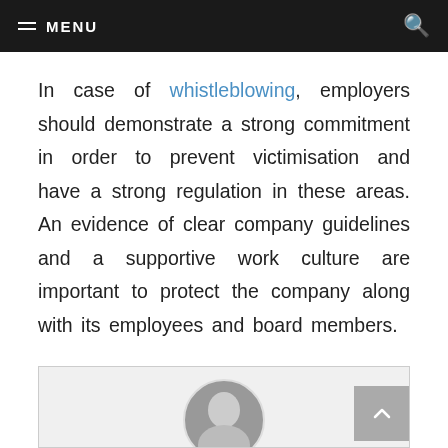MENU
In case of whistleblowing, employers should demonstrate a strong commitment in order to prevent victimisation and have a strong regulation in these areas. An evidence of clear company guidelines and a supportive work culture are important to protect the company along with its employees and board members.
[Figure (photo): Black and white circular photo of a bald man, partially visible at the bottom of the page]